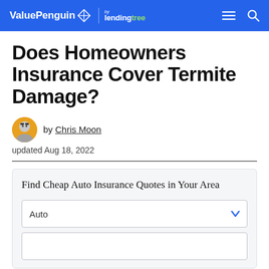ValuePenguin by lendingtree
Does Homeowners Insurance Cover Termite Damage?
by Chris Moon
updated Aug 18, 2022
Find Cheap Auto Insurance Quotes in Your Area
Auto